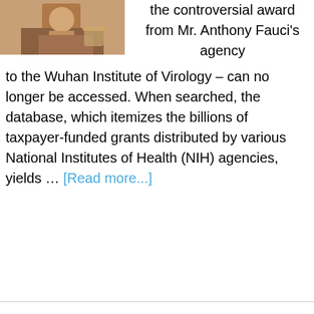[Figure (photo): Person holding a drink, wearing a brown jacket]
the controversial award from Mr. Anthony Fauci's agency to the Wuhan Institute of Virology – can no longer be accessed. When searched, the database, which itemizes the billions of taxpayer-funded grants distributed by various National Institutes of Health (NIH) agencies, yields … [Read more...]
Gates Foundation Is Longtime Partner Of Chinese Communist Group Which Funded Military-Linked Coronavirus Research At Wuhan Lab.